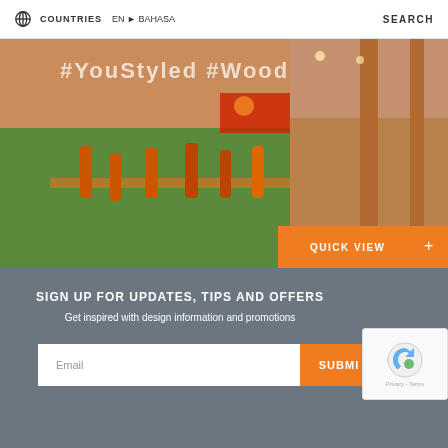COUNTRIES  EN ▸ BAHASA  SEARCH
[Figure (photo): Stadium scene with football players entering the field, orange-clad crowd in background, and interior venue space on the right. Overlay text reads '#YouStyled #Wood'. Orange 'QUICK VIEW +' button in lower right.]
SIGN UP FOR UPDATES, TIPS AND OFFERS
Get inspired with design information and promotions
Email
SUBMIT